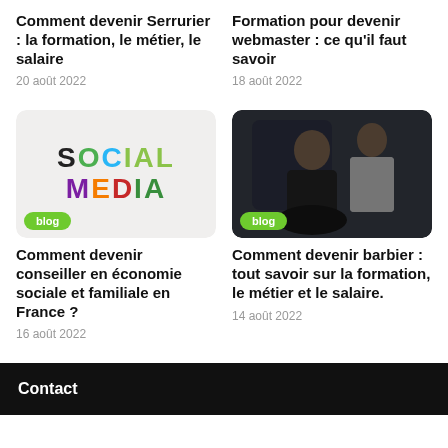Comment devenir Serrurier : la formation, le métier, le salaire
20 août 2022
Formation pour devenir webmaster : ce qu'il faut savoir
18 août 2022
[Figure (photo): Social Media text art with colorful letters on light background with blog badge]
[Figure (photo): Barber shop photo: barber with client, dark background, blog badge]
Comment devenir conseiller en économie sociale et familiale en France ?
16 août 2022
Comment devenir barbier : tout savoir sur la formation, le métier et le salaire.
14 août 2022
Contact